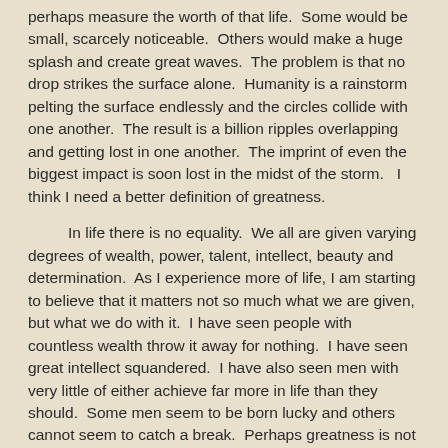perhaps measure the worth of that life.  Some would be small, scarcely noticeable.  Others would make a huge splash and create great waves.  The problem is that no drop strikes the surface alone.  Humanity is a rainstorm pelting the surface endlessly and the circles collide with one another.  The result is a billion ripples overlapping and getting lost in one another.  The imprint of even the biggest impact is soon lost in the midst of the storm.   I think I need a better definition of greatness.
In life there is no equality.  We all are given varying degrees of wealth, power, talent, intellect, beauty and determination.  As I experience more of life, I am starting to believe that it matters not so much what we are given, but what we do with it.  I have seen people with countless wealth throw it away for nothing.  I have seen great intellect squandered.  I have also seen men with very little of either achieve far more in life than they should.  Some men seem to be born lucky and others cannot seem to catch a break.  Perhaps greatness is not measured on an absolute scale like we want to believe, but rather on a more individual basis.